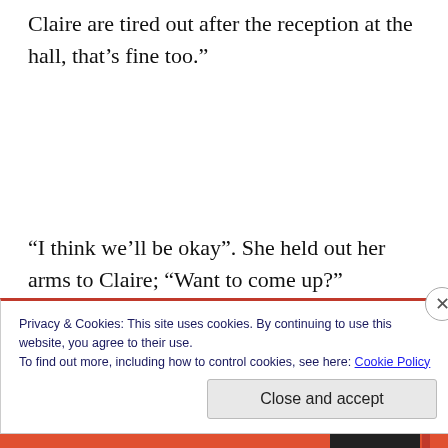Claire are tired out after the reception at the hall, that’s fine too.”
“I think we’ll be okay”. She held out her arms to Claire; “Want to come up?”
“Okay!” the little girl replied with a bright smile. Beth
Privacy & Cookies: This site uses cookies. By continuing to use this website, you agree to their use.
To find out more, including how to control cookies, see here: Cookie Policy
Close and accept